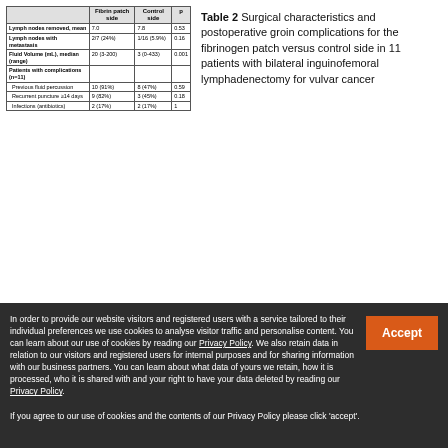|  | Fibrin patch side | Control side | p |
| --- | --- | --- | --- |
| Lymph nodes removed, mean | 7.0 | 7.8 | 0.53 |
| Lymph nodes with metastasis | 2/7 (24%) | 1/16 (5.9%) | 0.16 |
| Fluid Volume (mL), median (range) | 20 (3-200) | 3 (0-433) | 0.001 |
| Patients with complications (n=11) |  |  |  |
| Previous fluid percussion | 10 (91%) | 8 (47%) | 0.59 |
| Recurrent puncture ≥14 days | 9 (82%) | 3 (45%) | 0.18 |
| Infections (antibiotics) | 2 (17%) | 2 (17%) | 1 |
Table 2 Surgical characteristics and postoperative groin complications for the fibrinogen patch versus control side in 11 patients with bilateral inguinofemoral lymphadenectomy for vulvar cancer
The correlation between the use of fibrin sealant patch and the amount of fluid collection over time was analyzed in a linear mixed-effects model. The patch showed a significantly negative effect on the fluid collection with an increasing amount over time (slope on original scale = 35.03, CI=12.51 to 57.55, p=0.002; Figure 1). In order to compare the amount
In order to provide our website visitors and registered users with a service tailored to their individual preferences we use cookies to analyse visitor traffic and personalise content. You can learn about our use of cookies by reading our Privacy Policy. We also retain data in relation to our visitors and registered users for internal purposes and for sharing information with our business partners. You can learn about what data of yours we retain, how it is processed, who it is shared with and your right to have your data deleted by reading our Privacy Policy. If you agree to our use of cookies and the contents of our Privacy Policy please click 'accept'.